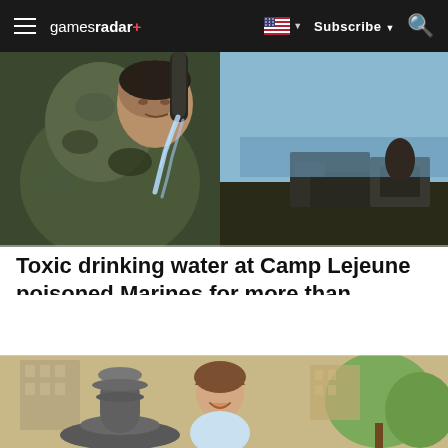gamesradar+ | Subscribe | Search
[Figure (photo): A soldier in camouflage uniform drinking water from a hose outdoors, with military vehicles and water in the background.]
Toxic drinking water at Camp Lejeune poisoned Marines for more than three…
Agency Y | Sponsored
[Figure (photo): A young smiling girl near a fountain outdoors, with buildings and trees in the background.]